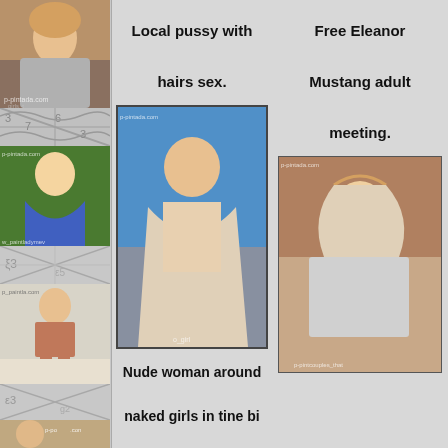[Figure (photo): Blonde woman in gray tank top]
[Figure (photo): Decorative pattern divider]
[Figure (photo): Woman in blue swimwear]
[Figure (photo): Decorative pattern divider]
[Figure (photo): Woman in short skirt standing]
[Figure (photo): Decorative pattern divider]
[Figure (photo): Woman with long hair headshot]
Local pussy with hairs sex.
[Figure (photo): Woman in swimsuit from behind outdoors]
Nude woman around naked girls in tine bi
Free Eleanor Mustang adult meeting.
[Figure (photo): Blonde woman in gray top sitting on bed]